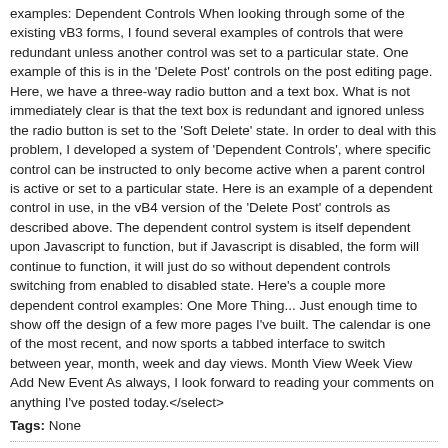examples: Dependent Controls When looking through some of the existing vB3 forms, I found several examples of controls that were redundant unless another control was set to a particular state. One example of this is in the 'Delete Post' controls on the post editing page. Here, we have a three-way radio button and a text box. What is not immediately clear is that the text box is redundant and ignored unless the radio button is set to the 'Soft Delete' state. In order to deal with this problem, I developed a system of 'Dependent Controls', where specific control can be instructed to only become active when a parent control is active or set to a particular state. Here is an example of a dependent control in use, in the vB4 version of the 'Delete Post' controls as described above. The dependent control system is itself dependent upon Javascript to function, but if Javascript is disabled, the form will continue to function, it will just do so without dependent controls switching from enabled to disabled state. Here's a couple more dependent control examples: One More Thing... Just enough time to show off the design of a few more pages I've built. The calendar is one of the most recent, and now sports a tabbed interface to switch between year, month, week and day views. Month View Week View Add New Event As always, I look forward to reading your comments on anything I've posted today.</select>
Tags: None
281 comments   279 - 281
cfish commented #279
Wed 17 Jun '09, 2:02am
Great job Kier, the design and underminning logic are excellent. I have one